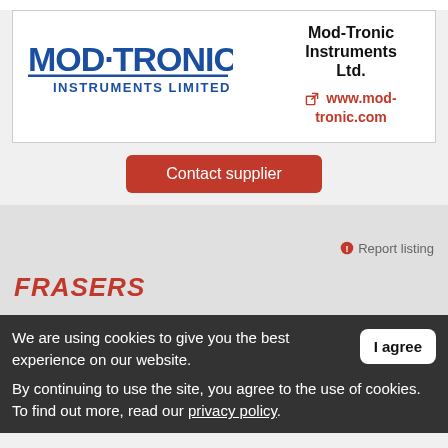[Figure (logo): Mod-Tronic Instruments Limited logo with stylized blue text]
Mod-Tronic Instruments Ltd.
www.mod-tronic.com
Contact supplier
Report listing
[Figure (logo): FRASERS logo in red italic bold text]
We are using cookies to give you the best experience on our website.
By continuing to use the site, you agree to the use of cookies. To find out more, read our privacy policy.